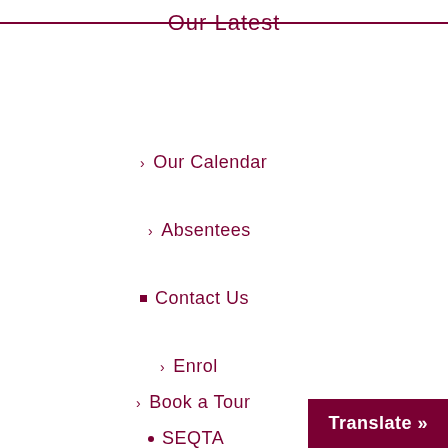Our Latest
Our Calendar
Absentees
Contact Us
Enrol
Book a Tour
SEQTA
Translate »